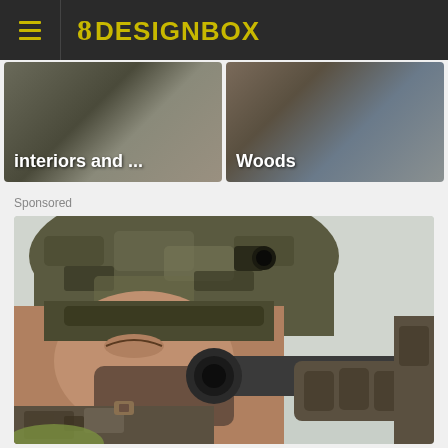8 DESIGNBOX
[Figure (screenshot): Website navigation header with hamburger menu and 8DESIGNBOX logo in yellow on dark background]
[Figure (photo): Two image cards side by side: left card labeled 'interiors and ...' and right card labeled 'Woods']
Sponsored
[Figure (photo): Close-up photo of a military soldier wearing camouflage helmet and tactical gear, looking through a rifle scope]